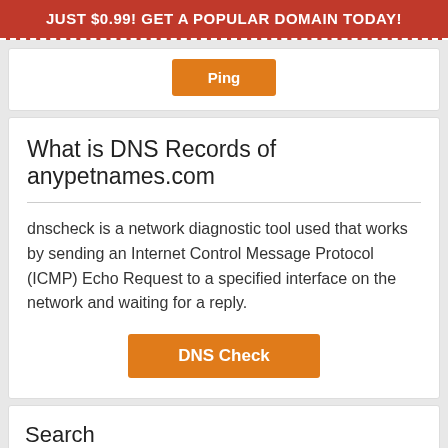JUST $0.99! GET A POPULAR DOMAIN TODAY!
[Figure (screenshot): Orange Ping button]
What is DNS Records of anypetnames.com
dnscheck is a network diagnostic tool used that works by sending an Internet Control Message Protocol (ICMP) Echo Request to a specified interface on the network and waiting for a reply.
[Figure (screenshot): Orange DNS Check button]
Search
https://www.google.com